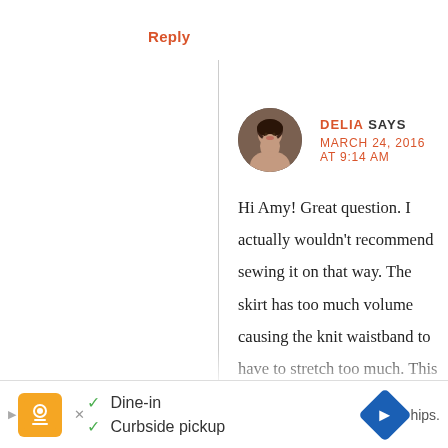Reply
[Figure (photo): Circular avatar photo of Delia, a woman with dark hair]
DELIA SAYS
MARCH 24, 2016 AT 9:14 AM
Hi Amy! Great question. I actually wouldn't recommend sewing it on that way. The skirt has too much volume causing the knit waistband to have to stretch too much. This would most likely affect the sizing and fit. You want to sew over the gathers, rather then letting the waistband create all the gathers. When you gather it first and then serge it together, you still have enough
[Figure (screenshot): Advertisement banner at bottom: orange icon, dine-in and curbside pickup options, blue arrow icon, hips text]